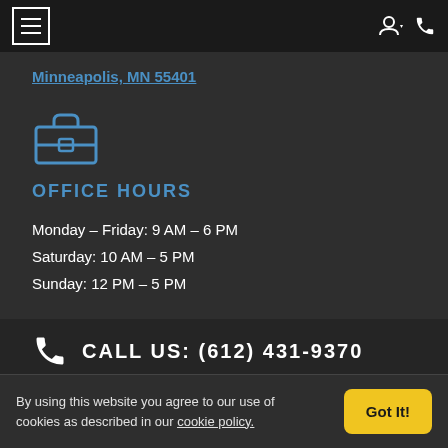Navigation bar with hamburger menu, user icon, and phone icon
Minneapolis, MN 55401
[Figure (illustration): Blue briefcase icon]
OFFICE HOURS
Monday – Friday: 9 AM – 6 PM
Saturday: 10 AM – 5 PM
Sunday: 12 PM – 5 PM
CALL US: (612) 431-9370
By using this website you agree to our use of cookies as described in our cookie policy.